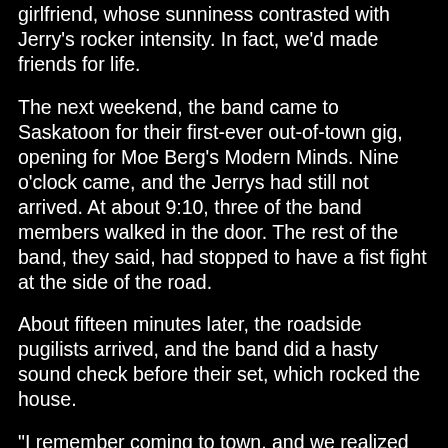girlfriend, whose sunniness contrasted with Jerry's rocker intensity. In fact, we'd made friends for life.
The next weekend, the band came to Saskatoon for their first-ever out-of-town gig, opening for Moe Berg's Modern Minds. Nine o'clock came, and the Jerrys had still not arrived. At about 9:10, three of the band members walked in the door. The rest of the band, they said, had stopped to have a fist fight at the side of the road.
About fifteen minutes later, the roadside pugilists arrived, and the band did a hasty sound check before their set, which rocked the house.
"I remember coming to town, and we realized that we did not know where we were playing, the name of the club, or anything, so we just looked for some cool-looking people on the street," Jerry remembers of the first JJ and the SORO road trip to Saskatoon.
"Luckily, I think the first people we asked where a cool show might be tonight told us. Because it was already sound-check time and we had no